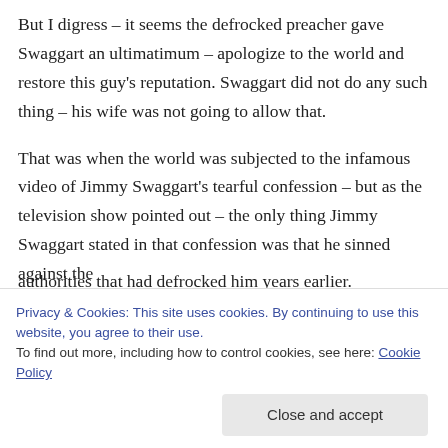But I digress – it seems the defrocked preacher gave Swaggart an ultimatimum – apologize to the world and restore this guy's reputation. Swaggart did not do any such thing – his wife was not going to allow that.

That was when the world was subjected to the infamous video of Jimmy Swaggart's tearful confession – but as the television show pointed out – the only thing Jimmy Swaggart stated in that confession was that he sinned against the authorities that had defrocked him years earlier.
Privacy & Cookies: This site uses cookies. By continuing to use this website, you agree to their use.
To find out more, including how to control cookies, see here: Cookie Policy